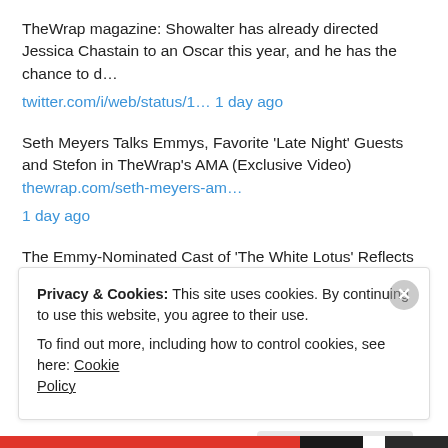TheWrap magazine: Showalter has already directed Jessica Chastain to an Oscar this year, and he has the chance to d… twitter.com/i/web/status/1… 1 day ago
Seth Meyers Talks Emmys, Favorite 'Late Night' Guests and Stefon in TheWrap's AMA (Exclusive Video) thewrap.com/seth-meyers-am… 1 day ago
The Emmy-Nominated Cast of 'The White Lotus' Reflects on Making a Show About White Privilege in Paradise thewrap.com/the-white-lotu… 1 day ago
[Figure (other): Follow @anthonygeorge button (Twitter/X blue button)]
Privacy & Cookies: This site uses cookies. By continuing to use this website, you agree to their use. To find out more, including how to control cookies, see here: Cookie Policy
Close and accept